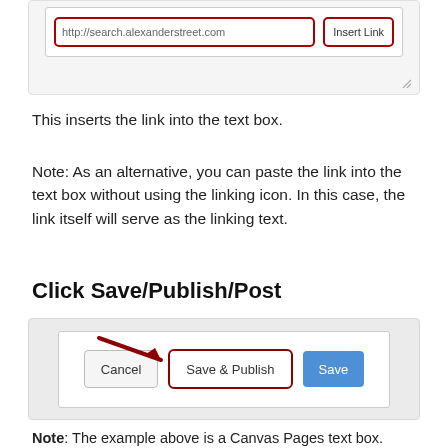[Figure (screenshot): Screenshot showing a URL input field with 'http://search.alexanderstreet.com' and an 'Insert Link' button, both outlined in dark red. A resize handle is visible at the bottom right.]
This inserts the link into the text box.
Note: As an alternative, you can paste the link into the text box without using the linking icon. In this case, the link itself will serve as the linking text.
Click Save/Publish/Post
[Figure (screenshot): Screenshot showing a dialog with three buttons: 'Cancel', 'Save & Publish' (outlined in dark red with a red arrow pointing to it), and 'Save' (blue button).]
Note: The example above is a Canvas Pages text box.